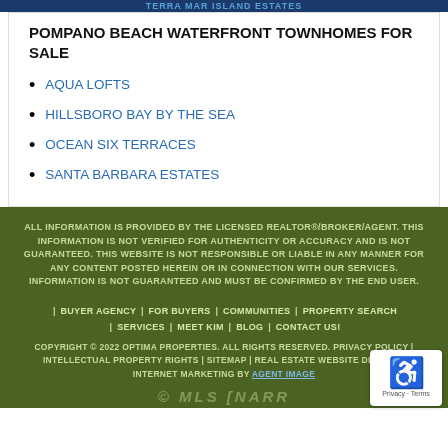TERRA MAR ISLAND ESTATES
POMPANO BEACH WATERFRONT TOWNHOMES FOR SALE
AQUA LOFTS
HILLSBORO BAY BY THE SEA
OCEAN SIX TERRACES
SANTA BARBARA ESTATES
ALL INFORMATION IS PROVIDED BY THE LICENSED REALTOR®/BROKER/AGENT. THIS INFORMATION IS NOT VERIFIED FOR AUTHENTICITY OR ACCURACY AND IS NOT GUARANTEED. THIS WEBSITE IS NOT RESPONSIBLE OR LIABLE IN ANY MANNER FOR ANY CONTENT POSTED HEREIN OR IN CONNECTION WITH OUR SERVICES. INFORMATION IS NOT GUARANTEED AND MUST BE CONFIRMED BY THE END USER.
| BUYER AGENCY | FOR BUYERS | COMMUNITIES | PROPERTY SEARCH | SERVICES | MEET KIM | BLOG | CONTACT US! COPYRIGHT © 2022 OPTIMA PROPERTIES. ALL RIGHTS RESERVED. PRIVACY POLICY | INTELLECTUAL PROPERTY RIGHTS | SITEMAP | REAL ESTATE WEBSITE DESIGN & INTERNET MARKETING BY AGENT IMAGE